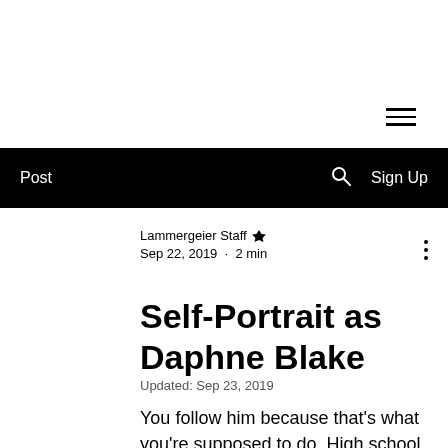[Figure (other): Hamburger menu icon (three horizontal lines)]
Post  🔍  Sign Up
Lammergeier Staff 👑
Sep 22, 2019 · 2 min
Self-Portrait as Daphne Blake
Updated: Sep 23, 2019
You follow him because that's what you're supposed to do. High school sweethearts or long-time crushes who